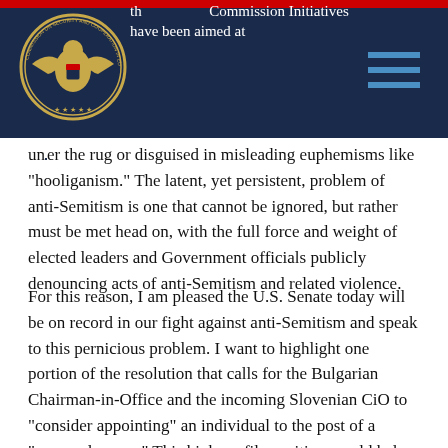the O.S.C.E. Commission Initiatives have been aimed at
under the rug or disguised in misleading euphemisms like "hooliganism." The latent, yet persistent, problem of anti-Semitism is one that cannot be ignored, but rather must be met head on, with the full force and weight of elected leaders and Government officials publicly denouncing acts of anti-Semitism and related violence.
For this reason, I am pleased the U.S. Senate today will be on record in our fight against anti-Semitism and speak to this pernicious problem. I want to highlight one portion of the resolution that calls for the Bulgarian Chairman-in-Office and the incoming Slovenian CiO to "consider appointing" an individual to the post of a "personal envoy." This high profile position would help ensure "sustained attention with